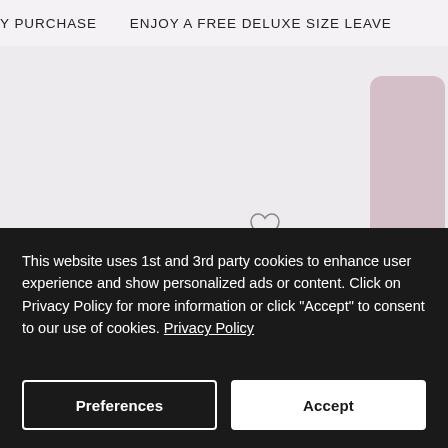Y PURCHASE    ENJOY A FREE DELUXE SIZE LEAVE
[Figure (photo): Product image of Melrose Place Body Crème in a pink/mauve container, showing the lid from above, on a light grey background. Heart/wishlist icon visible below the product image. Partial view of a second product on the right edge.]
MELROSE PLACE BODY CRÈME    $38    MELROSE PLACE B
This website uses 1st and 3rd party cookies to enhance user experience and show personalized ads or content. Click on Privacy Policy for more information or click "Accept" to consent to our use of cookies. Privacy Policy
Preferences
Accept